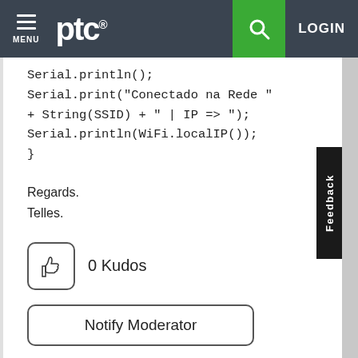ptc® MENU [search] LOGIN
Serial.println();
Serial.print("Conectado na Rede " + String(SSID) + " | IP => ");
Serial.println(WiFi.localIP());
}
Regards.
Telles.
0 Kudos
Notify Moderator
Reply